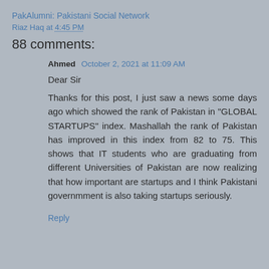PakAlumni: Pakistani Social Network
Riaz Haq at 4:45 PM
88 comments:
Ahmed  October 2, 2021 at 11:09 AM
Dear Sir
Thanks for this post, I just saw a news some days ago which showed the rank of Pakistan in "GLOBAL STARTUPS" index. Mashallah the rank of Pakistan has improved in this index from 82 to 75. This shows that IT students who are graduating from different Universities of Pakistan are now realizing that how important are startups and I think Pakistani governmment is also taking startups seriously.
Reply